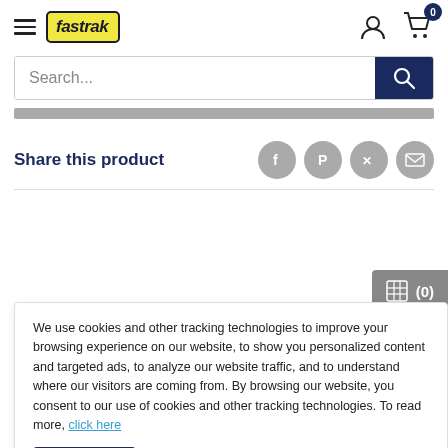[Figure (logo): Fastrak logo with yellow background and dark border, italic bold text]
[Figure (infographic): Search bar with placeholder text 'Search...' and dark blue search button with magnifier icon]
[Figure (infographic): Gray progress/loading bar]
Share this product
[Figure (infographic): Social share icons: Facebook, Pinterest, Twitter, Email — gray circles]
[Figure (infographic): Compare button showing grid icon and (0) count]
We use cookies and other tracking technologies to improve your browsing experience on our website, to show you personalized content and targeted ads, to analyze our website traffic, and to understand where our visitors are coming from. By browsing our website, you consent to our use of cookies and other tracking technologies. To read more, click here
19" rack ears for 80 HP Eurorack chassis